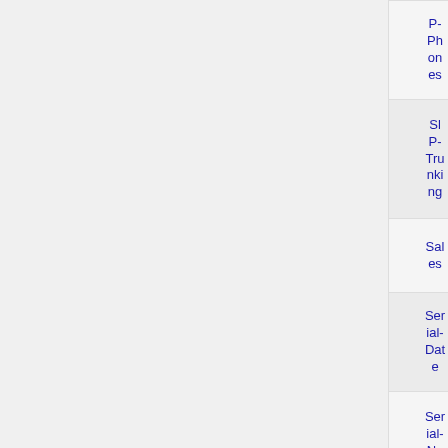| Field | Value |
| --- | --- |
| Phones | 10 + |
| Sl P-Trunking | true + |
| Sales | sold + |
| Serial-Date | January 9, 2012 + |
| Serial-Number | C021.360.00 + |
| Serial Nu |  |